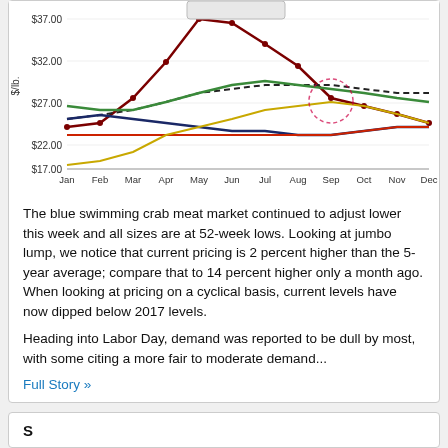[Figure (line-chart): Blue swimming crab meat prices by month]
The blue swimming crab meat market continued to adjust lower this week and all sizes are at 52-week lows. Looking at jumbo lump, we notice that current pricing is 2 percent higher than the 5-year average; compare that to 14 percent higher only a month ago. When looking at pricing on a cyclical basis, current levels have now dipped below 2017 levels.
Heading into Labor Day, demand was reported to be dull by most, with some citing a more fair to moderate demand...
Full Story »